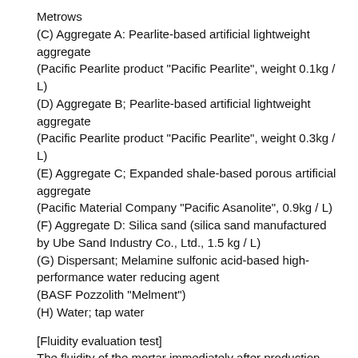Metrows
(C) Aggregate A: Pearlite-based artificial lightweight aggregate
(Pacific Pearlite product "Pacific Pearlite", weight 0.1kg / L)
(D) Aggregate B; Pearlite-based artificial lightweight aggregate
(Pacific Pearlite product "Pacific Pearlite", weight 0.3kg / L)
(E) Aggregate C; Expanded shale-based porous artificial aggregate
(Pacific Material Company "Pacific Asanolite", 0.9kg / L)
(F) Aggregate D: Silica sand (silica sand manufactured by Ube Sand Industry Co., Ltd., 1.5 kg / L)
(G) Dispersant; Melamine sulfonic acid-based high-performance water reducing agent
(BASF Pozzolith "Melment")
(H) Water; tap water
[Fluidity evaluation test]
The fluidity of the mortar immediately after production was evaluated by using a J14 funnel and the mortar flow time from the funnel. The test was carried out in a constant temperature test chamber at 20 ° C. according to the method of JSCE-F531-1999, and the mortar flow time from